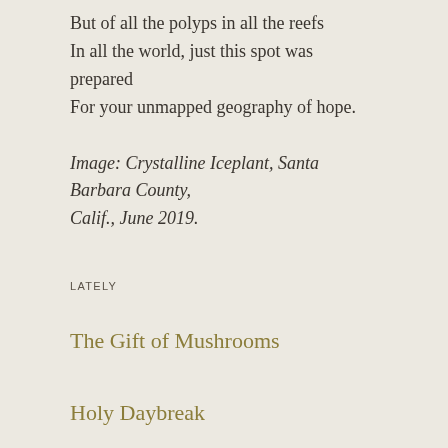But of all the polyps in all the reefs
In all the world, just this spot was prepared
For your unmapped geography of hope.
Image: Crystalline Iceplant, Santa Barbara County, Calif., June 2019.
LATELY
The Gift of Mushrooms
Holy Daybreak